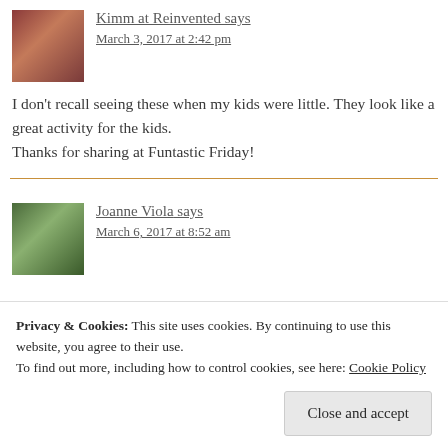Kimm at Reinvented says
March 3, 2017 at 2:42 pm
I don't recall seeing these when my kids were little. They look like a great activity for the kids.
Thanks for sharing at Funtastic Friday!
Joanne Viola says
March 6, 2017 at 8:52 am
Privacy & Cookies: This site uses cookies. By continuing to use this website, you agree to their use.
To find out more, including how to control cookies, see here: Cookie Policy
Close and accept